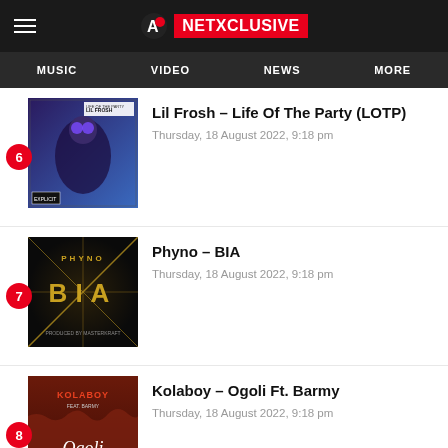NETXCLUSIVE
MUSIC | VIDEO | NEWS | MORE
6 - Lil Frosh – Life Of The Party (LOTP) | Thursday, 18 August 2022, 9:18 pm
7 - Phyno – BIA | Thursday, 18 August 2022, 9:18 pm
8 - Kolaboy – Ogoli Ft. Barmy | Thursday, 18 August 2022, 9:18 pm